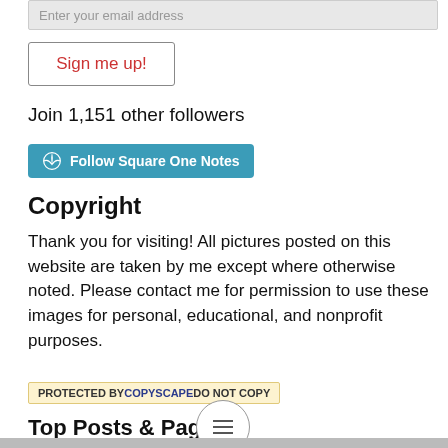Enter your email address
Sign me up!
Join 1,151 other followers
[Figure (other): Follow Square One Notes button (WordPress)]
Copyright
Thank you for visiting! All pictures posted on this website are taken by me except where otherwise noted. Please contact me for permission to use these images for personal, educational, and nonprofit purposes.
[Figure (other): Protected by Copyscape Do Not Copy badge]
Top Posts & Pages
[Figure (other): Hamburger menu button]